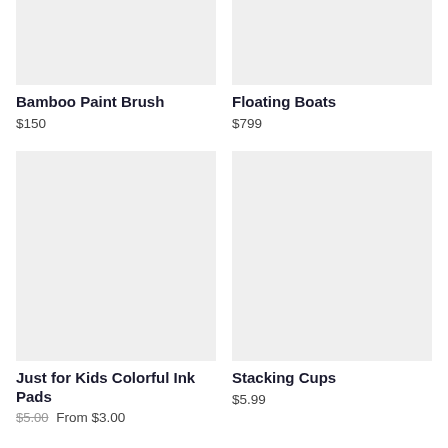[Figure (photo): Product image placeholder for Bamboo Paint Brush, light gray background]
[Figure (photo): Product image placeholder for Floating Boats, light gray background]
Bamboo Paint Brush
$150
Floating Boats
$799
[Figure (photo): Product image placeholder for Just for Kids Colorful Ink Pads, light gray background]
[Figure (photo): Product image placeholder for Stacking Cups, light gray background]
Just for Kids Colorful Ink Pads
$5.99 From $3.00
Stacking Cups
$5.99